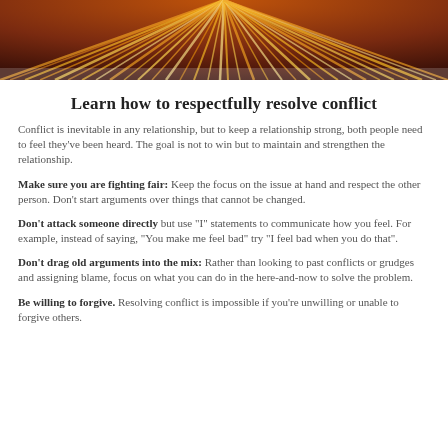[Figure (illustration): Radial burst of orange, gold, and yellow light rays emanating from the center-top, on a dark reddish-purple background, creating a sunburst effect.]
Learn how to respectfully resolve conflict
Conflict is inevitable in any relationship, but to keep a relationship strong, both people need to feel they've been heard. The goal is not to win but to maintain and strengthen the relationship.
Make sure you are fighting fair: Keep the focus on the issue at hand and respect the other person. Don't start arguments over things that cannot be changed.
Don't attack someone directly but use "I" statements to communicate how you feel. For example, instead of saying, "You make me feel bad" try "I feel bad when you do that".
Don't drag old arguments into the mix: Rather than looking to past conflicts or grudges and assigning blame, focus on what you can do in the here-and-now to solve the problem.
Be willing to forgive. Resolving conflict is impossible if you're unwilling or unable to forgive others.